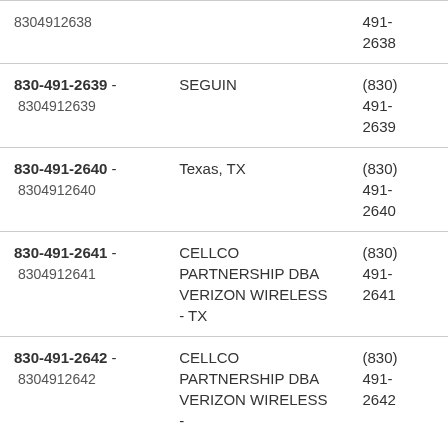| Number | Location/Carrier | Formatted |
| --- | --- | --- |
| 8304912638 |  | 491-
2638 |
| 830-491-2639 -
8304912639 | SEGUIN | (830)
491-
2639 |
| 830-491-2640 -
8304912640 | Texas, TX | (830)
491-
2640 |
| 830-491-2641 -
8304912641 | CELLCO PARTNERSHIP DBA VERIZON WIRELESS - TX | (830)
491-
2641 |
| 830-491-2642 -
8304912642 | CELLCO PARTNERSHIP DBA VERIZON WIRELESS - | (830)
491-
2642 |